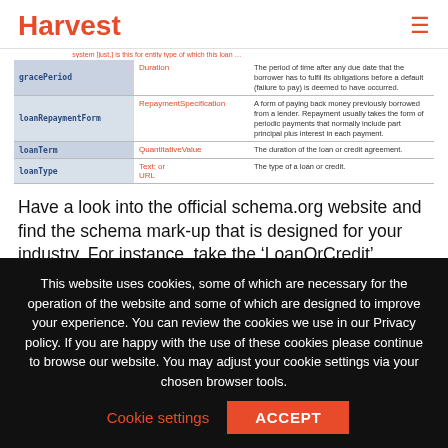Harvest
| Property | Type | Description |
| --- | --- | --- |
| gracePeriod | Duration | The period of time after any due date that the borrower has to fulfil its obligations before a default (failure to pay) is deemed to have occurred. |
| loanRepaymentForm | RepaymentSpecification | A form of paying back money previously borrowed from a lender. Repayment usually takes the form of periodic payments that normally include part principal plus interest in each payment. |
| loanTerm | QuantitativeValue | The duration of the loan or credit agreement. |
| loanType | Text; or URL | The type of a loan or credit. |
Have a look into the official schema.org website and find the schema mark-up that is designed for your industry. For instance, take the ‘LoanOrCredit’ Schema.org code if you are within this area of finance and inject that into your
This website uses cookies, some of which are necessary for the operation of the website and some of which are designed to improve your experience. You can review the cookies we use in our Privacy policy. If you are happy with the use of these cookies please continue to browse our website. You may adjust your cookie settings via your chosen browser tools. Cookie settings ACCEPT